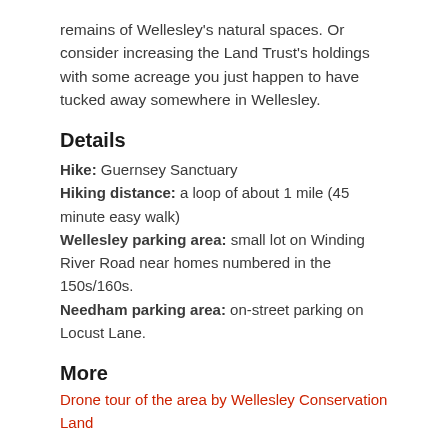remains of Wellesley's natural spaces. Or consider increasing the Land Trust's holdings with some acreage you just happen to have tucked away somewhere in Wellesley.
Details
Hike: Guernsey Sanctuary
Hiking distance: a loop of about 1 mile (45 minute easy walk)
Wellesley parking area: small lot on Winding River Road near homes numbered in the 150s/160s.
Needham parking area: on-street parking on Locust Lane.
More
Drone tour of the area by Wellesley Conservation Land